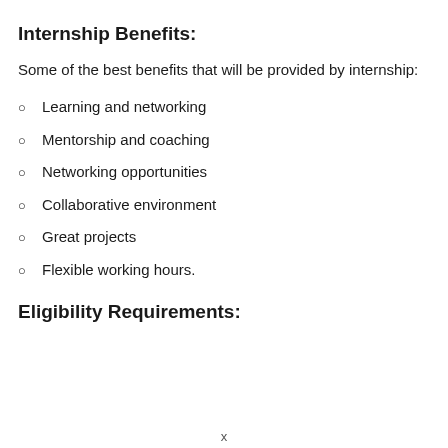Internship Benefits:
Some of the best benefits that will be provided by internship:
Learning and networking
Mentorship and coaching
Networking opportunities
Collaborative environment
Great projects
Flexible working hours.
Eligibility Requirements: